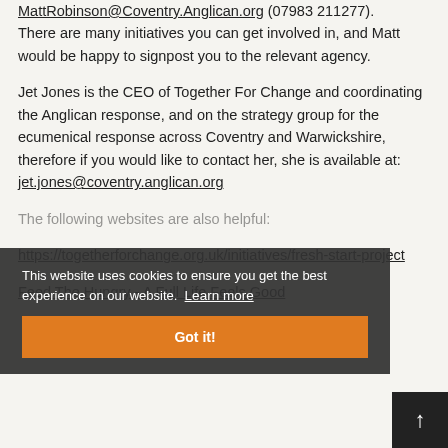Matt Robinson, on MattRobinson@Coventry.Anglican.org (07983 211277). There are many initiatives you can get involved in, and Matt would be happy to signpost you to the relevant agency.
Jet Jones is the CEO of Together For Change and coordinating the Anglican response, and on the strategy group for the ecumenical response across Coventry and Warwickshire, therefore if you would like to contact her, she is available at: jet.jones@coventry.anglican.org
The following websites are also helpful:
https://togetherforchange.org.uk/initiatives/fresh-start-project
Feed The Hungry - A Full Life Feels Good